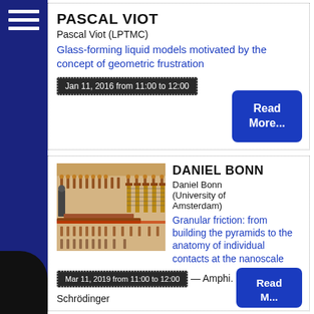PASCAL VIOT
Pascal Viot (LPTMC)
Glass-forming liquid models motivated by the concept of geometric frustration
Jan 11, 2016 from 11:00 to 12:00
Read More...
DANIEL BONN
Daniel Bonn (University of Amsterdam)
Granular friction: from building the pyramids to the anatomy of individual contacts at the nanoscale
Mar 11, 2019 from 11:00 to 12:00 — Amphi. Schrödinger
Read More...